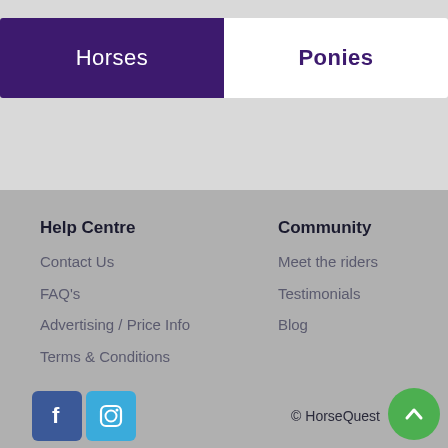Horses
Ponies
Help Centre
Contact Us
FAQ's
Advertising / Price Info
Terms & Conditions
Community
Meet the riders
Testimonials
Blog
[Figure (logo): Facebook icon (blue square with white f letter)]
[Figure (logo): Instagram icon (blue square with camera outline)]
© HorseQuest